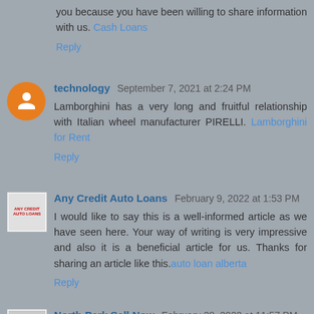you because you have been willing to share information with us. Cash Loans
Reply
technology  September 7, 2021 at 2:24 PM
Lamborghini has a very long and fruitful relationship with Italian wheel manufacturer PIRELLI. Lamborghini for Rent
Reply
Any Credit Auto Loans  February 9, 2022 at 1:53 PM
I would like to say this is a well-informed article as we have seen here. Your way of writing is very impressive and also it is a beneficial article for us. Thanks for sharing an article like this.auto loan alberta
Reply
North Park Sell Now  February 28, 2022 at 11:57 PM